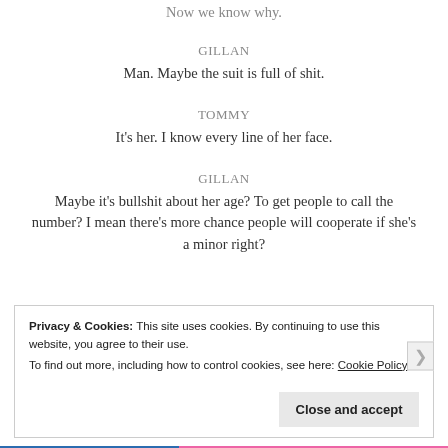Now we know why.
GILLAN
Man. Maybe the suit is full of shit.
TOMMY
It's her. I know every line of her face.
GILLAN
Maybe it's bullshit about her age? To get people to call the number? I mean there's more chance people will cooperate if she's a minor right?
Privacy & Cookies: This site uses cookies. By continuing to use this website, you agree to their use. To find out more, including how to control cookies, see here: Cookie Policy